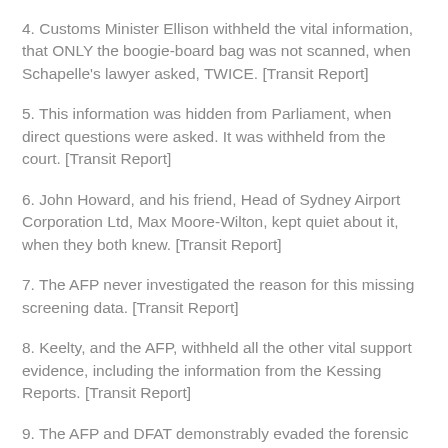4. Customs Minister Ellison withheld the vital information, that ONLY the boogie-board bag was not scanned, when Schapelle's lawyer asked, TWICE. [Transit Report]
5. This information was hidden from Parliament, when direct questions were asked. It was withheld from the court. [Transit Report]
6. John Howard, and his friend, Head of Sydney Airport Corporation Ltd, Max Moore-Wilton, kept quiet about it, when they both knew. [Transit Report]
7. The AFP never investigated the reason for this missing screening data. [Transit Report]
8. Keelty, and the AFP, withheld all the other vital support evidence, including the information from the Kessing Reports. [Transit Report]
9. The AFP and DFAT demonstrably evaded the forensic tests Schapelle Corby begged for. [Mutual Evasion Report]